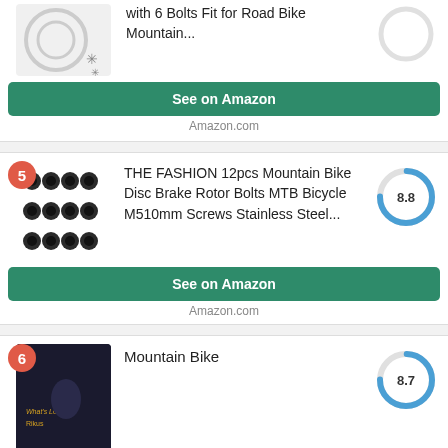with 6 Bolts Fit for Road Bike Mountain...
See on Amazon
Amazon.com
5 — THE FASHION 12pcs Mountain Bike Disc Brake Rotor Bolts MTB Bicycle M510mm Screws Stainless Steel...
[Figure (other): Score donut chart showing 8.8]
See on Amazon
Amazon.com
6 — Mountain Bike
[Figure (other): Score donut chart showing 8.7]
See on Amazon
Amazon.com